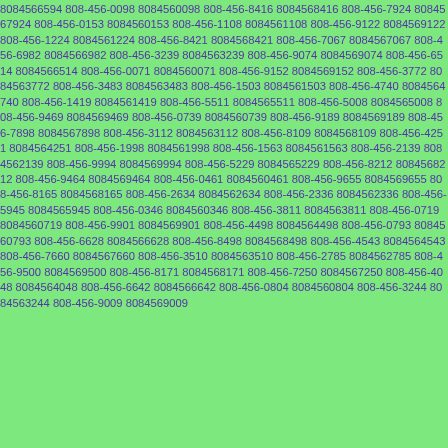8084566594 808-456-0098 8084560098 808-456-8416 8084568416 808-456-7924 8084567924 808-456-0153 8084560153 808-456-1108 8084561108 808-456-9122 8084569122 808-456-1224 8084561224 808-456-8421 8084568421 808-456-7067 8084567067 808-456-6982 8084566982 808-456-3239 8084563239 808-456-9074 8084569074 808-456-6514 8084566514 808-456-0071 8084560071 808-456-9152 8084569152 808-456-3772 8084563772 808-456-3483 8084563483 808-456-1503 8084561503 808-456-4740 8084564740 808-456-1419 8084561419 808-456-5511 8084565511 808-456-5008 8084565008 808-456-9469 8084569469 808-456-0739 8084560739 808-456-9189 8084569189 808-456-7898 8084567898 808-456-3112 8084563112 808-456-8109 8084568109 808-456-4251 8084564251 808-456-1998 8084561998 808-456-1563 8084561563 808-456-2139 8084562139 808-456-9994 8084569994 808-456-5229 8084565229 808-456-8212 8084568212 808-456-9464 8084569464 808-456-0461 8084560461 808-456-9655 8084569655 808-456-8165 8084568165 808-456-2634 8084562634 808-456-2336 8084562336 808-456-5945 8084565945 808-456-0346 8084560346 808-456-3811 8084563811 808-456-0719 8084560719 808-456-9901 8084569901 808-456-4498 8084564498 808-456-0793 8084560793 808-456-6628 8084566628 808-456-8498 8084568498 808-456-4543 8084564543 808-456-7660 8084567660 808-456-3510 8084563510 808-456-2785 8084562785 808-456-9500 8084569500 808-456-8171 8084568171 808-456-7250 8084567250 808-456-4048 8084564048 808-456-6642 8084566642 808-456-0804 8084560804 808-456-3244 8084563244 808-456-9009 8084569009